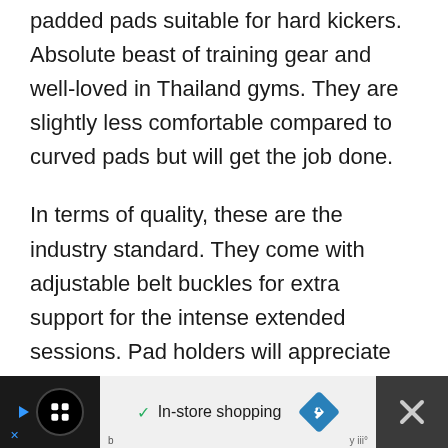padded pads suitable for hard kickers. Absolute beast of training gear and well-loved in Thailand gyms. They are slightly less comfortable compared to curved pads but will get the job done.
In terms of quality, these are the industry standard. They come with adjustable belt buckles for extra support for the intense extended sessions. Pad holders will appreciate these very much.
[Figure (other): Advertisement bar at the bottom of the page with dark background, showing a circular logo icon on the left, a checkmark with 'In-store shopping' text in the center on a light background, a blue diamond arrow icon, and an X close button on the right.]